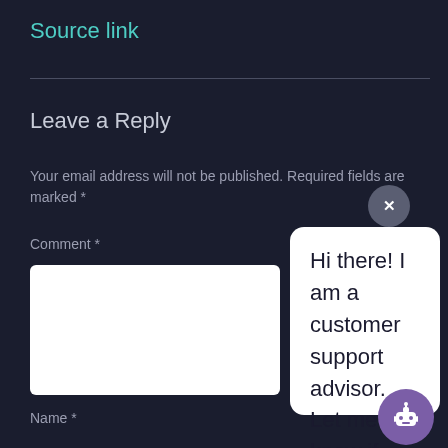Source link
Leave a Reply
Your email address will not be published. Required fields are marked *
Comment *
[Figure (screenshot): A chat popup from a customer support bot with message: Hi there! I am a customer support advisor. Let me know if you have any questions or need assistance, ok? With a close (X) button and a purple robot icon at bottom right.]
Name *